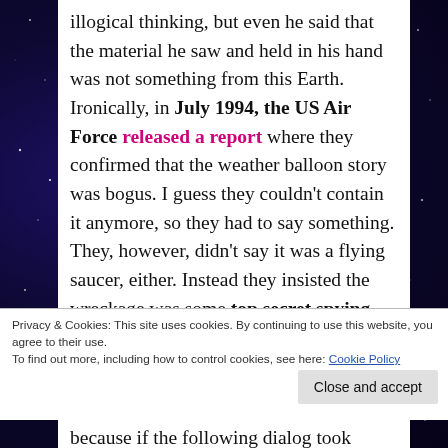illogical thinking, but even he said that the material he saw and held in his hand was not something from this Earth. Ironically, in July 1994, the US Air Force released a report where they confirmed that the weather balloon story was bogus. I guess they couldn't contain it anymore, so they had to say something. They, however, didn't say it was a flying saucer, either. Instead they insisted the wreckage was some top secret spying gear against Soviet Union, and it explained why they couldn't tell the truth back in 1947.
But what about the alien bodies? There were still
Privacy & Cookies: This site uses cookies. By continuing to use this website, you agree to their use.
To find out more, including how to control cookies, see here: Cookie Policy
Close and accept
because if the following dialog took place, they